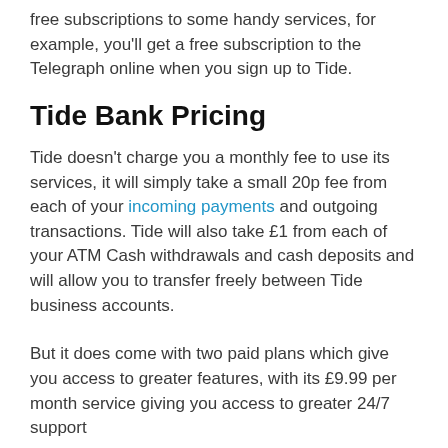free subscriptions to some handy services, for example, you'll get a free subscription to the Telegraph online when you sign up to Tide.
Tide Bank Pricing
Tide doesn't charge you a monthly fee to use its services, it will simply take a small 20p fee from each of your incoming payments and outgoing transactions. Tide will also take £1 from each of your ATM Cash withdrawals and cash deposits and will allow you to transfer freely between Tide business accounts.
But it does come with two paid plans which give you access to greater features, with its £9.99 per month service giving you access to greater 24/7 support